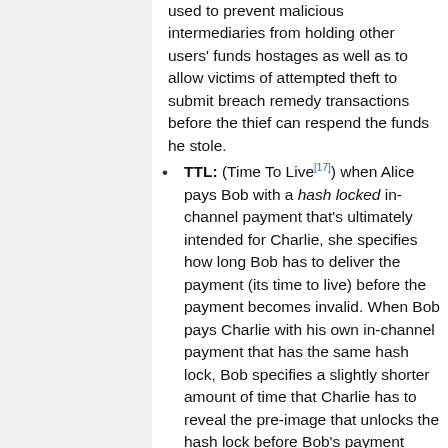used to prevent malicious intermediaries from holding other users' funds hostages as well as to allow victims of attempted theft to submit breach remedy transactions before the thief can respend the funds he stole.
TTL: (Time To Live[17]) when Alice pays Bob with a hash locked in-channel payment that's ultimately intended for Charlie, she specifies how long Bob has to deliver the payment (its time to live) before the payment becomes invalid. When Bob pays Charlie with his own in-channel payment that has the same hash lock, Bob specifies a slightly shorter amount of time that Charlie has to reveal the pre-image that unlocks the hash lock before Bob's payment becomes invalid. This means that...